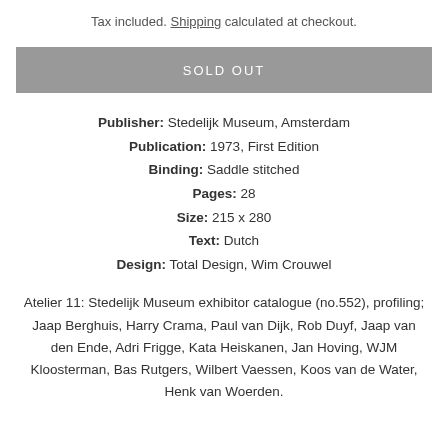Tax included. Shipping calculated at checkout.
SOLD OUT
Publisher: Stedelijk Museum, Amsterdam
Publication: 1973, First Edition
Binding: Saddle stitched
Pages: 28
Size: 215 x 280
Text: Dutch
Design: Total Design, Wim Crouwel
Atelier 11: Stedelijk Museum exhibitor catalogue (no.552), profiling; Jaap Berghuis, Harry Crama, Paul van Dijk, Rob Duyf, Jaap van den Ende, Adri Frigge, Kata Heiskanen, Jan Hoving, WJM Kloosterman, Bas Rutgers, Wilbert Vaessen, Koos van de Water, Henk van Woerden.